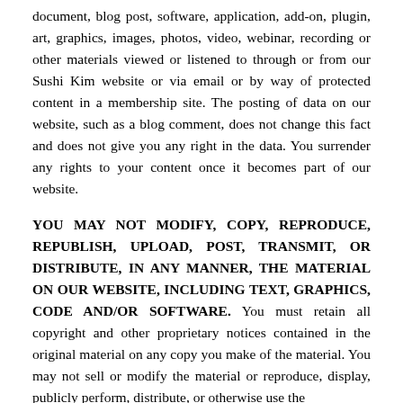document, blog post, software, application, add-on, plugin, art, graphics, images, photos, video, webinar, recording or other materials viewed or listened to through or from our Sushi Kim website or via email or by way of protected content in a membership site. The posting of data on our website, such as a blog comment, does not change this fact and does not give you any right in the data. You surrender any rights to your content once it becomes part of our website.
YOU MAY NOT MODIFY, COPY, REPRODUCE, REPUBLISH, UPLOAD, POST, TRANSMIT, OR DISTRIBUTE, IN ANY MANNER, THE MATERIAL ON OUR WEBSITE, INCLUDING TEXT, GRAPHICS, CODE AND/OR SOFTWARE. You must retain all copyright and other proprietary notices contained in the original material on any copy you make of the material. You may not sell or modify the material or reproduce, display, publicly perform, distribute, or otherwise use the